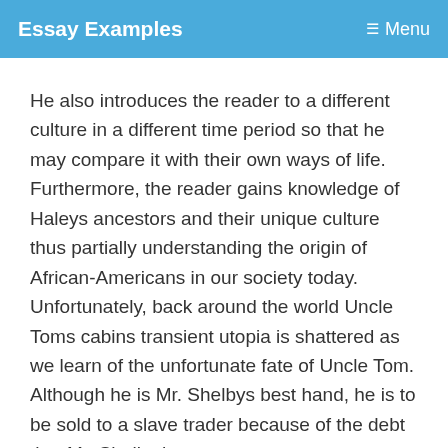Essay Examples   ☰ Menu
He also introduces the reader to a different culture in a different time period so that he may compare it with their own ways of life. Furthermore, the reader gains knowledge of Haleys ancestors and their unique culture thus partially understanding the origin of African-Americans in our society today. Unfortunately, back around the world Uncle Toms cabins transient utopia is shattered as we learn of the unfortunate fate of Uncle Tom. Although he is Mr. Shelbys best hand, he is to be sold to a slave trader because of the debt that Mr. Shelby has